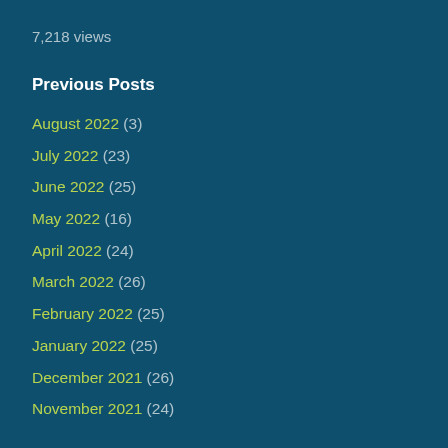7,218 views
Previous Posts
August 2022 (3)
July 2022 (23)
June 2022 (25)
May 2022 (16)
April 2022 (24)
March 2022 (26)
February 2022 (25)
January 2022 (25)
December 2021 (26)
November 2021 (24)